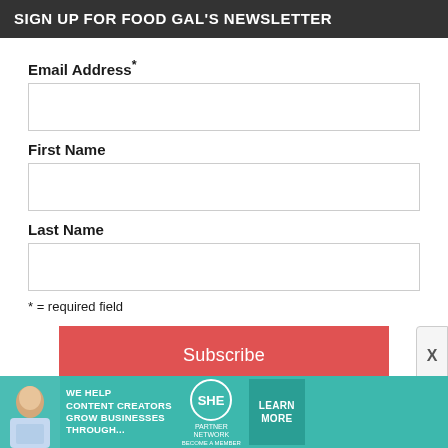SIGN UP FOR FOOD GAL'S NEWSLETTER
Email Address*
First Name
Last Name
* = required field
Subscribe
[Figure (infographic): SHE Media Partner Network advertisement banner with woman photo, text 'We help content creators grow businesses through...', SHE logo, and 'Learn More / Become a Member' button]